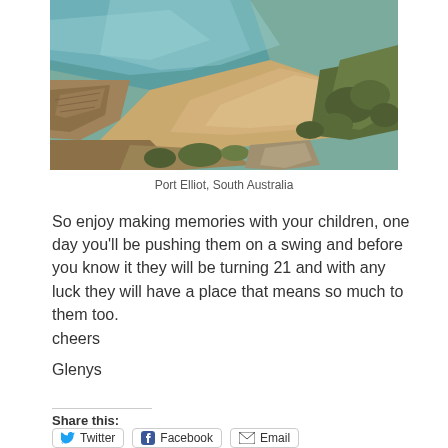[Figure (photo): Aerial/elevated view of a sandy beach cove with turquoise ocean waves, rocks, and coastal scrubland at Port Elliot, South Australia]
Port Elliot, South Australia
So enjoy making memories with your children, one day you'll be pushing them on a swing and before you know it they will be turning 21 and with any luck they will have a place that means so much to them too.
cheers
Glenys
Share this: Twitter Facebook Email